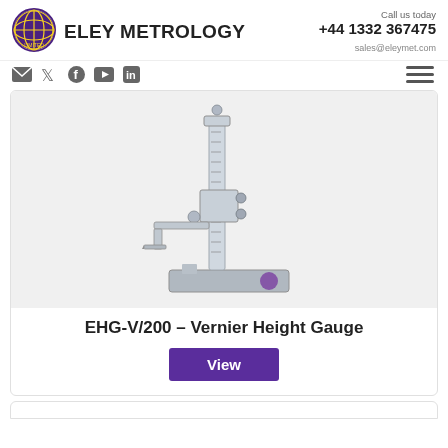ELEY METROLOGY | Call us today +44 1332 367475 | sales@eleymet.com
[Figure (logo): Eley Metrology circular logo with cross and globe design in purple and gold]
[Figure (photo): EHG-V/200 Vernier Height Gauge – a tall metallic height gauge instrument with vernier scale, sliding jaw, and heavy base]
EHG-V/200 – Vernier Height Gauge
View